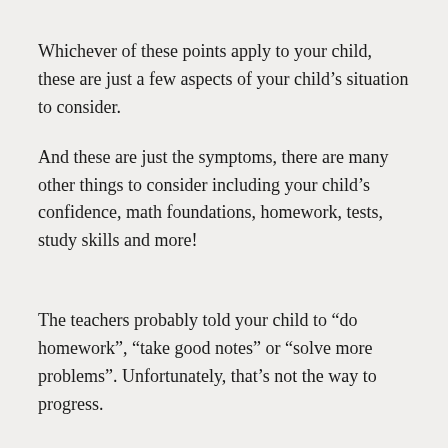Whichever of these points apply to your child, these are just a few aspects of your child’s situation to consider.
And these are just the symptoms, there are many other things to consider including your child’s confidence, math foundations, homework, tests, study skills and more!
The teachers probably told your child to “do homework”, “take good notes” or “solve more problems”. Unfortunately, that’s not the way to progress.